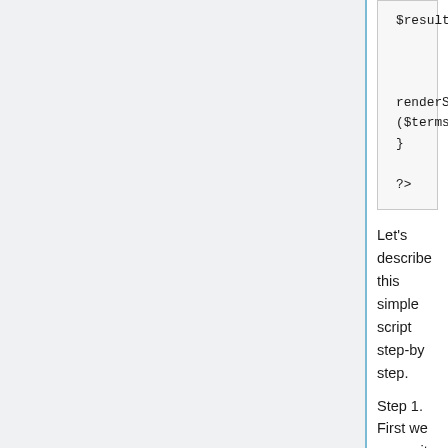[Figure (screenshot): Code block showing PHP snippet with renderSearchResults($terms, $results); and closing brace and ?>]
Let's describe this simple script step-by step.
Step 1. First we overwrite the search handler procedure name, replacing the standard one by the custom 'searchHandler_Local'. Please note that you can not chain overrides - as soon you set procedure name in $page['search']['handler'] (as well as any other handler) the old handler is forgotten, and the new one is responsible for calling it, if it decides to